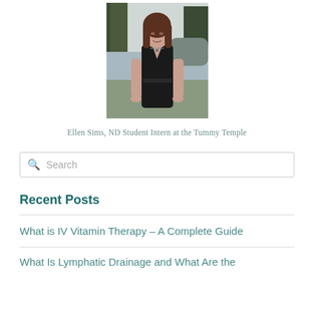[Figure (photo): Photo of a woman in a black dress standing outdoors near water and trees]
Ellen Sims, ND Student Intern at the Tummy Temple
Search
Recent Posts
What is IV Vitamin Therapy – A Complete Guide
What Is Lymphatic Drainage and What Are the